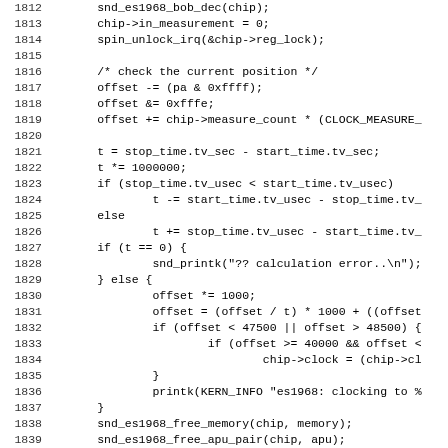[Figure (screenshot): Source code listing showing C code lines 1812-1843, part of a Linux kernel audio driver function. Contains code for snd_es1968 driver including bob_dec, spin_unlock_irq, offset calculations, time calculations, and printk statements.]